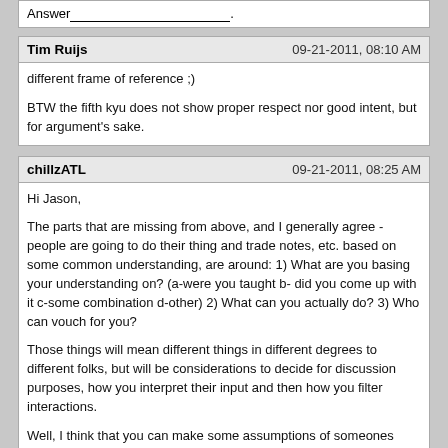Answer_________________.
Tim Ruijs    09-21-2011, 08:10 AM
different frame of reference ;)

BTW the fifth kyu does not show proper respect nor good intent, but for argument's sake.
chillzATL    09-21-2011, 08:25 AM
Hi Jason,

The parts that are missing from above, and I generally agree - people are going to do their thing and trade notes, etc. based on some common understanding, are around: 1) What are you basing your understanding on? (a-were you taught b- did you come up with it c-some combination d-other) 2) What can you actually do? 3) Who can vouch for you?

Those things will mean different things in different degrees to different folks, but will be considerations to decide for discussion purposes, how you interpret their input and then how you filter interactions.

Well, I think that you can make some assumptions of someones understanding of the common ground shared between all these methods by how they talk about it. Does that mean you're not going to get some clown come along who slings jargon and talks good game? no, not at all, but if that person comes along and is making suggestions about what people should be doing or trying you know, you get up and try what they're talking about. That shared common ground, IMO, makes that possible. As for what they can actually do and who can vouch for them. If doing the above didn't set off anything for you, then you work to get some hands on time with said person and see what they're talking about, regardless if someone else vouches for them. If it's not making sense to you, based on your understanding and experience of that shared common ground, then you gotta get hands on, period. Which you should do any chance YOU CAN ANYWAY...